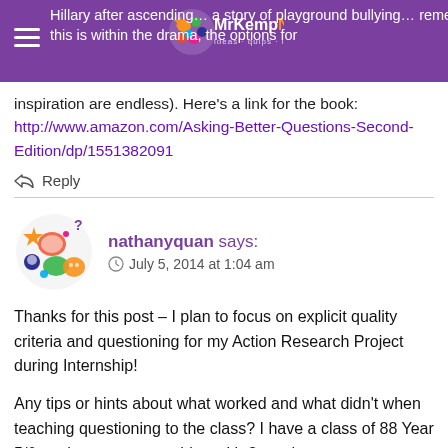Hillary after ascending… [playground bullying]… remember this is within the drama, the options for inspiration are endless). Here's a link for the book: http://www.amazon.com/Asking-Better-Questions-Second-Edition/dp/1551382091
↩ Reply
nathanyquan says:
⊙ July 5, 2014 at 1:04 am
Thanks for this post – I plan to focus on explicit quality criteria and questioning for my Action Research Project during Internship!
Any tips or hints about what worked and what didn't when teaching questioning to the class? I have a class of 88 Year 5/6 students, team teaching with 3 teachers.